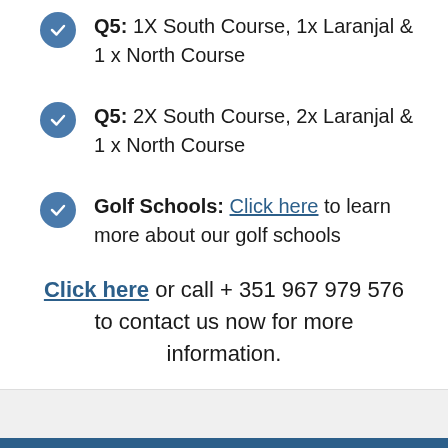Q5: 1X South Course, 1x Laranjal & 1 x North Course
Q5: 2X South Course, 2x Laranjal & 1 x North Course
Golf Schools: Click here to learn more about our golf schools
Click here or call + 351 967 979 576 to contact us now for more information.